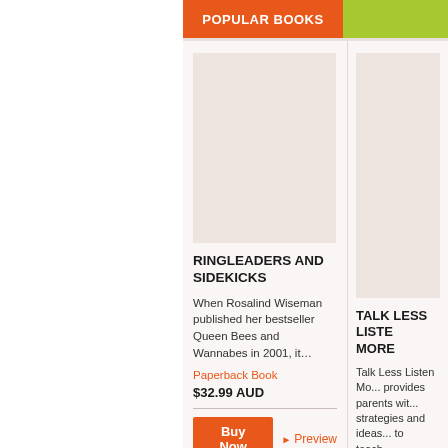POPULAR BOOKS
[Figure (illustration): Book cover placeholder for Ringleaders and Sidekicks — beige/rose colored rectangle]
RINGLEADERS AND SIDEKICKS
When Rosalind Wiseman published her bestseller Queen Bees and Wannabes in 2001, it…
Paperback Book
$32.99 AUD
[Figure (illustration): Book cover placeholder for Talk Less Listen More — beige/rose colored rectangle]
TALK LESS LISTE... MORE
Talk Less Listen Mo... provides parents wit... strategies and ideas... to teach…
Paperback Book
$29.99 AUD